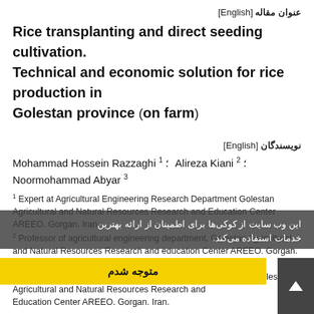عنوان مقاله [English]
Rice transplanting and direct seeding cultivation. Technical and economic solution for rice production in Golestan province (on farm)
نویسندگان [English]
Mohammad Hossein Razzaghi 1 ؛  Alireza Kiani 2 ؛  Noormohammad Abyar 3
1 Expert at Agricultural Engineering Research Department Golestan Agricultural and Natural Resources Research and Education Center AREEO. Gorgan. Iran.
2 Professor of agricultural engineering department, Golestan Agricultural and Natural Resources Research and education Center AREEO. Gorgan. Iran.
3 Assistant Professor at Socio-Economic Research Ggroup of Golestan Agricultural and Natural Resources Research and Education Center AREEO. Gorgan. Iran.